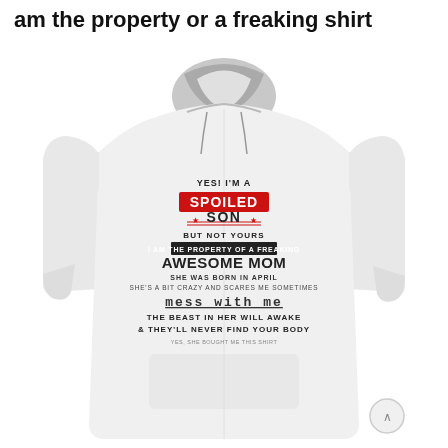am the property or a freaking shirt
[Figure (photo): White hoodie sweatshirt with printed text: YES! I'M A SPOILED SON BUT NOT YOURS I AM THE PROPERTY OF A FREAKING AWESOME MOM SHE WAS BORN IN APRIL SHE'S A BIT CRAZY AND SCARES ME SOMETIMES MESS WITH ME THE BEAST IN HER WILL AWAKE & THEY'LL NEVER FIND YOUR BODY YES, SHE BOUGHT ME THIS SHIRT]